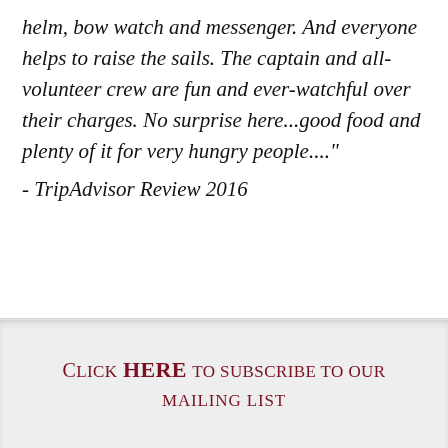helm, bow watch and messenger. And everyone helps to raise the sails. The captain and all-volunteer crew are fun and ever-watchful over their charges. No surprise here...good food and plenty of it for very hungry people...." - TripAdvisor Review 2016
CLICK HERE TO SUBSCRIBE TO OUR MAILING LIST